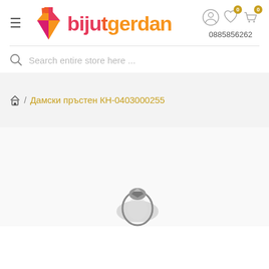[Figure (logo): Bijutgerdan jewelry store logo with diamond icon and colorful text]
0885856262
Search entire store here ...
/ Дамски пръстен КН-0403000255
[Figure (photo): Partial product image of a ring at the bottom of the page]